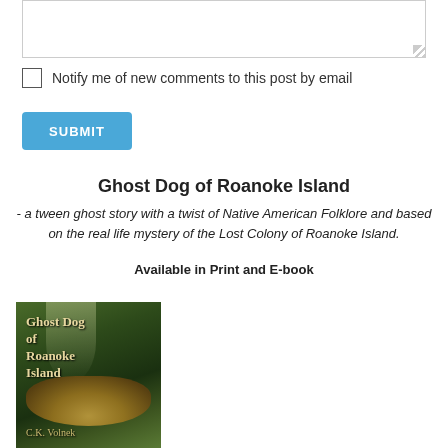[textarea input box]
Notify me of new comments to this post by email
SUBMIT
Ghost Dog of Roanoke Island
- a tween ghost story with a twist of Native American Folklore and based on the real life mystery of the Lost Colony of Roanoke Island.
Available in Print and E-book
[Figure (photo): Book cover of Ghost Dog of Roanoke Island showing a forest scene with a dog, by C.K. Volnek]